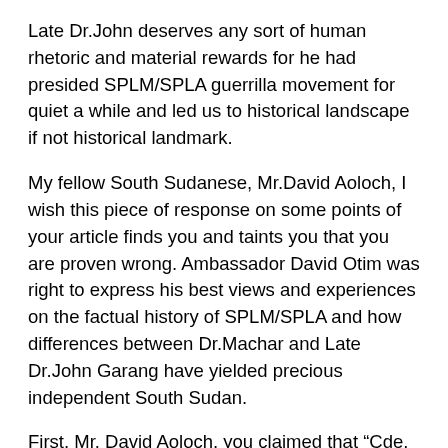Late Dr.John deserves any sort of human rhetoric and material rewards for he had presided SPLM/SPLA guerrilla movement for quiet a while and led us to historical landscape if not historical landmark.
My fellow South Sudanese, Mr.David Aoloch, I wish this piece of response on some points of your article finds you and taints you that you are proven wrong. Ambassador David Otim was right to express his best views and experiences on the factual history of SPLM/SPLA and how differences between Dr.Machar and Late Dr.John Garang have yielded precious independent South Sudan.
First, Mr. David Aoloch, you claimed that “Cde. Otim has hijacked the history of liberation struggle and rewriting it by including traitor Riek Machar in the glory of history” is mere laughingstock, absolutely ridiculous and lacks sense. Dr.Riek